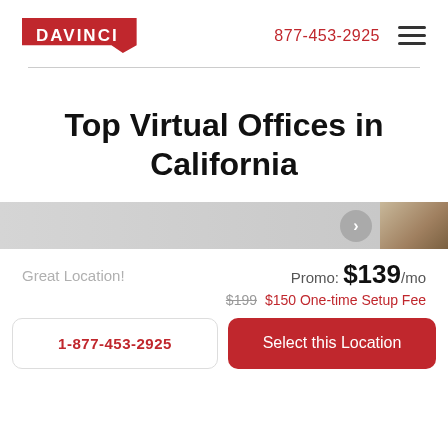DAVINCI  877-453-2925
Top Virtual Offices in California
Great Location!
Promo: $139/mo
$199 $150 One-time Setup Fee
1-877-453-2925
Select this Location